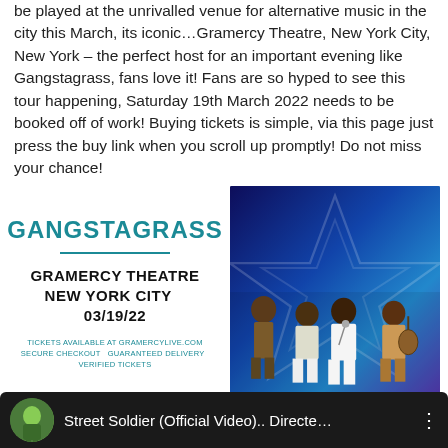be played at the unrivalled venue for alternative music in the city this March, its iconic…Gramercy Theatre, New York City, New York – the perfect host for an important evening like Gangstagrass, fans love it! Fans are so hyped to see this tour happening, Saturday 19th March 2022 needs to be booked off of work! Buying tickets is simple, via this page just press the buy link when you scroll up promptly! Do not miss your chance!
[Figure (infographic): Gangstagrass concert promo card: teal 'GANGSTAGRASS' title, horizontal teal divider, venue text 'GRAMERCY THEATRE NEW YORK CITY 03/19/22', small ticket info text.]
[Figure (photo): Photo of Gangstagrass performers on stage with blue/purple star-patterned background (America's Got Talent style). Multiple performers including one gesturing toward camera.]
[Figure (screenshot): YouTube video bar showing a circular thumbnail and title text 'Street Soldier (Official Video).. Directe…' with three-dot menu icon, dark background.]